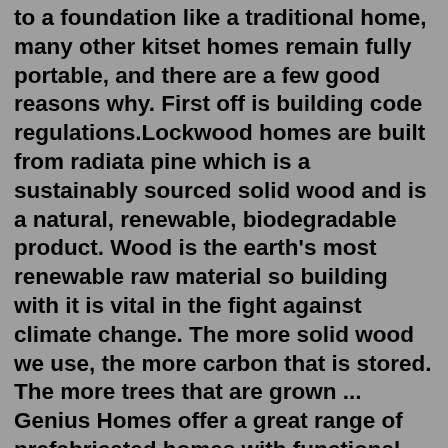to a foundation like a traditional home, many other kitset homes remain fully portable, and there are a few good reasons why. First off is building code regulations.Lockwood homes are built from radiata pine which is a sustainably sourced solid wood and is a natural, renewable, biodegradable product. Wood is the earth's most renewable raw material so building with it is vital in the fight against climate change. The more solid wood we use, the more carbon that is stored. The more trees that are grown ... Genius Homes offer a great range of prefabricated homes with functional designs for comfortable and spacious living. View our range of 4 Bedroom houses. 0800 522 225 2-4 Waikawa Beach Road, Manakau. Premium quality, energy efficient homes. See Our Houses See Our Plans. Modular, Transportable, Energy Efficient Homes. Our eco homes are built with premium quality, sustainable products and designed for maximum energy efficiency. They are modern, light and efficient, making the best use of available space to